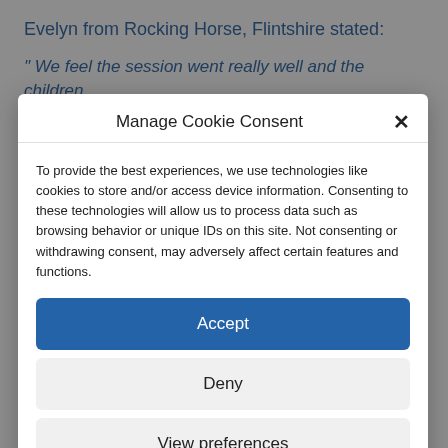Evelyn from Rocking Horse, Flintshire stated:
“ We feel the session went really well and the children
Manage Cookie Consent
To provide the best experiences, we use technologies like cookies to store and/or access device information. Consenting to these technologies will allow us to process data such as browsing behavior or unique IDs on this site. Not consenting or withdrawing consent, may adversely affect certain features and functions.
Accept
Deny
View preferences
Cookie Policy   NDNA Terms and Conditions